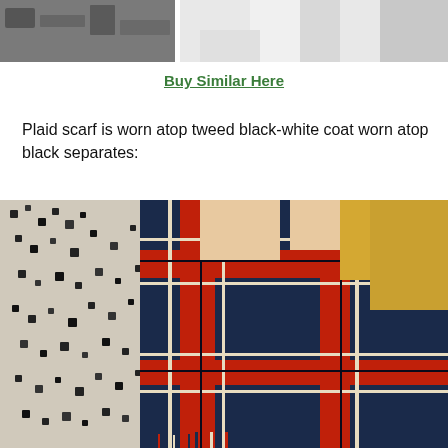[Figure (photo): Partial photo at top of page showing white jeans and partial figure, cropped at top]
Buy Similar Here
Plaid scarf is worn atop tweed black-white coat worn atop black separates:
[Figure (photo): Woman with blonde hair wearing a red and navy plaid scarf draped around neck over a black and white tweed coat, photographed from shoulders up]